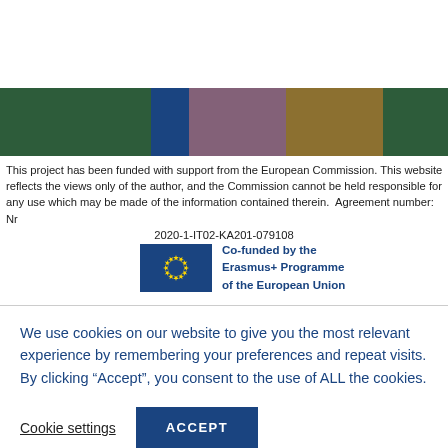[Figure (infographic): Horizontal color bar with five colored segments: dark green, dark blue, mauve/purple, golden brown, dark green]
This project has been funded with support from the European Commission. This website reflects the views only of the author, and the Commission cannot be held responsible for any use which may be made of the information contained therein.  Agreement number: Nr 2020-1-IT02-KA201-079108
[Figure (logo): Erasmus+ Programme of the European Union co-funded logo with EU flag stars circle on blue background and text: Co-funded by the Erasmus+ Programme of the European Union]
We use cookies on our website to give you the most relevant experience by remembering your preferences and repeat visits. By clicking “Accept”, you consent to the use of ALL the cookies.
Cookie settings   ACCEPT